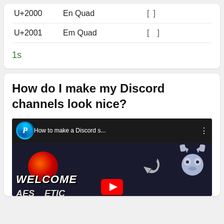| Code | Name | Character |
| --- | --- | --- |
| U+2000 | En Quad | [ ] |
| U+2001 | Em Quad | [ ] |
1s
How do I make my Discord channels look nice?
[Figure (screenshot): YouTube video thumbnail showing 'How to make a Discord s...' with a channel logo featuring letter P, WELCOME text, a Discord mascot, an arrow icon, and a YouTube play button. Bottom text partially shows 'AES...ETIC']